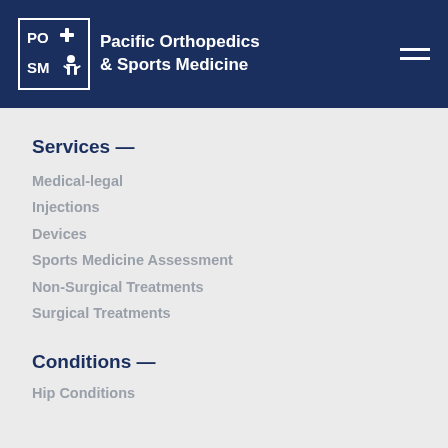Pacific Orthopedics & Sports Medicine
Services —
Medical-legal
Injections
Devices
Sports Medicine Assessment
Non-Surgical Treatments
Surgical Treatments
Conditions —
Hip Conditions